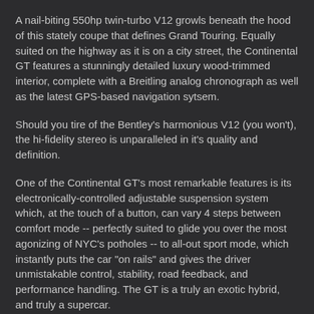A nail-biting 550hp twin-turbo V12 growls beneath the hood of this stately coupe that defines Grand Touring. Equally suited on the highway as it is on a city street, the Continental GT features a stunningly detailed luxury wood-trimmed interior, complete with a Breitling analog chronograph as well as the latest GPS-based navigation sytsem.
Should you tire of the Bentley's harmonious V12 (you won't), the hi-fidelity stereo is unparalleled in it's quality and definition.
One of the Continental GT's most remarkable features is its electronically-controlled adjustable suspension system which, at the touch of a button, can vary 4 steps between comfort mode -- perfectly suited to glide you over the most agonizing of NYC's potholes -- to all-out sport mode, which instantly puts the car "on rails" and gives the driver unmistakable control, stability, road feedback, and performance handling. The GT is a truly an exotic hybrid, and truly a supercar.